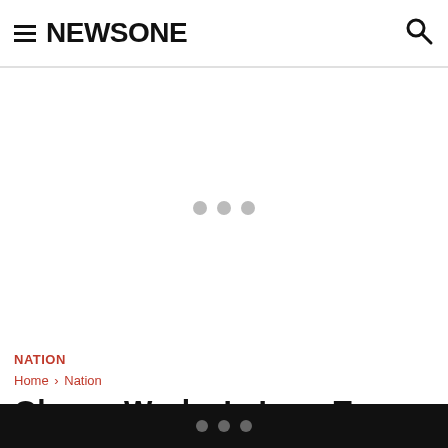NEWSONE
[Figure (other): Advertisement placeholder area with three grey loading dots in the center]
NATION
Home › Nation
Obama Works In Iowa To